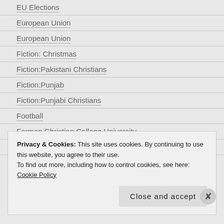EU Elections
European Union
European Union
Fiction: Christmas
Fiction:Pakistani Christians
Fiction:Punjab
Fiction:Punjabi Christians
Football
Forman Christian College University
France
Privacy & Cookies: This site uses cookies. By continuing to use this website, you agree to their use.
To find out more, including how to control cookies, see here: Cookie Policy
Close and accept